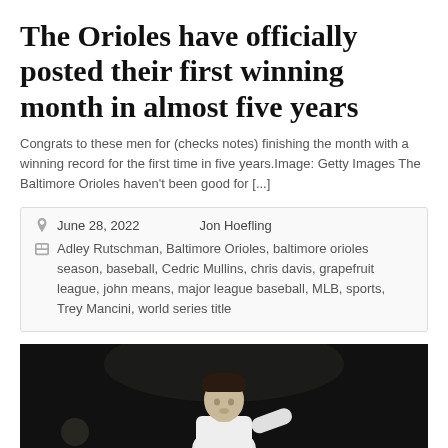The Orioles have officially posted their first winning month in almost five years
Congrats to these men for (checks notes) finishing the month with a winning record for the first time in five years.Image: Getty Images The Baltimore Orioles haven't been good for [...]
June 28, 2022   Jon Hoefling
Adley Rutschman, Baltimore Orioles, baltimore orioles season, baseball, Cedric Mullins, chris davis, grapefruit league, john means, major league baseball, MLB, sports, Trey Mancini, world series title
[Figure (photo): A baseball player photographed against a dark background, wearing a white jersey, with dark hair, appearing to be in motion or mid-action. A bokeh light spot is visible in the lower left.]